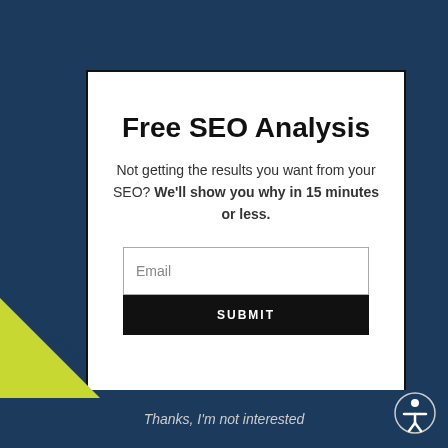Free SEO Analysis
Not getting the results you want from your SEO? We'll show you why in 15 minutes or less.
[Figure (screenshot): Email input field with placeholder text 'Email' and a black Submit button below]
[Figure (illustration): Green-yellow diagonal ribbon banner with 'TAMPA' text]
Thanks, I'm not interested